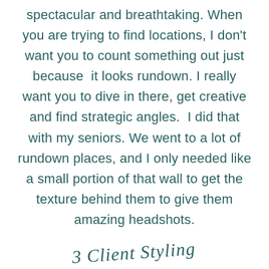spectacular and breathtaking. When you are trying to find locations, I don't want you to count something out just because it looks rundown. I really want you to dive in there, get creative and find strategic angles.  I did that with my seniors. We went to a lot of rundown places, and I only needed like a small portion of that wall to get the texture behind them to give them amazing headshots.
3 Client Styling